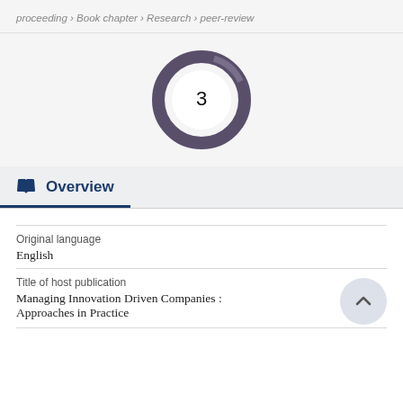proceeding › Book chapter › Research › peer-review
[Figure (donut-chart): Donut chart showing the number 3 in the center, with a dark purple/grey circular donut ring around it representing citations or a metric count.]
Overview
Original language
English
Title of host publication
Managing Innovation Driven Companies : Approaches in Practice